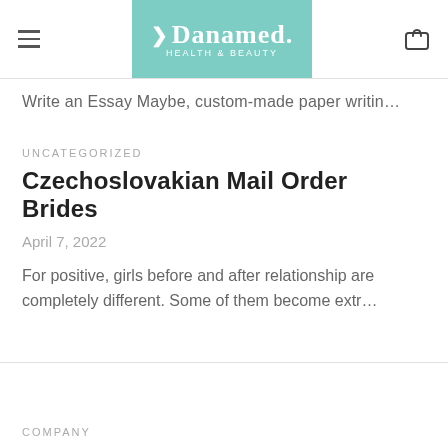Danamed. Health & Beauty
Write an Essay Maybe, custom-made paper writin…
UNCATEGORIZED
Czechoslovakian Mail Order Brides
April 7, 2022
For positive, girls before and after relationship are completely different. Some of them become extr…
COMPANY